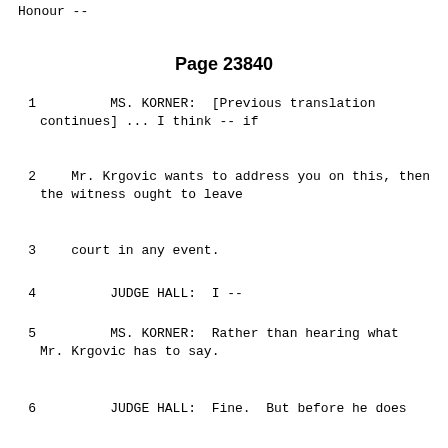Honour --
Page 23840
1    MS. KORNER:  [Previous translation continues] ... I think -- if
2    Mr. Krgovic wants to address you on this, then the witness ought to leave
3    court in any event.
4    JUDGE HALL:  I --
5    MS. KORNER:  Rather than hearing what Mr. Krgovic has to say.
6    JUDGE HALL:  Fine.  But before he does